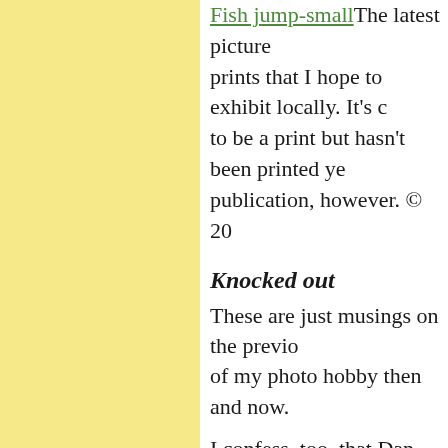Fish jump-small The latest picture prints that I hope to exhibit locally. It's c to be a print but hasn't been printed ye publication, however. © 20
Knocked out
These are just musings on the previo of my photo hobby then and now.
I confess, too, that Dan Khong's com when I release my inner Buddhist an impermanence of material things):
Know when digital becomes exp continued with film?
It's when your stored images ge but surely gets incompatible wit you got tardy and ignored the h
That's when the nightmare begi